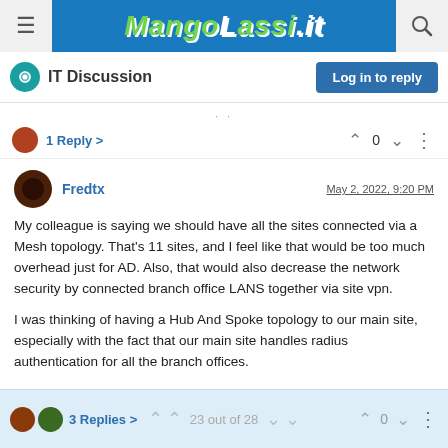MangoLassi.it
IT Discussion
1 Reply >  0
Fredtx  May 2, 2022, 9:20 PM
My colleague is saying we should have all the sites connected via a Mesh topology. That's 11 sites, and I feel like that would be too much overhead just for AD. Also, that would also decrease the network security by connected branch office LANS together via site vpn.

I was thinking of having a Hub And Spoke topology to our main site, especially with the fact that our main site handles radius authentication for all the branch offices.
3 Replies >  0